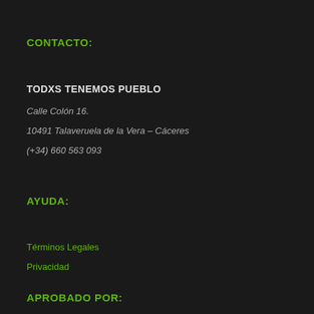CONTACTO:
TODXS TENEMOS PUEBLO
Calle Colón 16.
10491 Talaveruela de la Vera – Cáceres
(+34) 660 563 093
AYUDA:
Términos Legales
Privacidad
APROBADO POR: